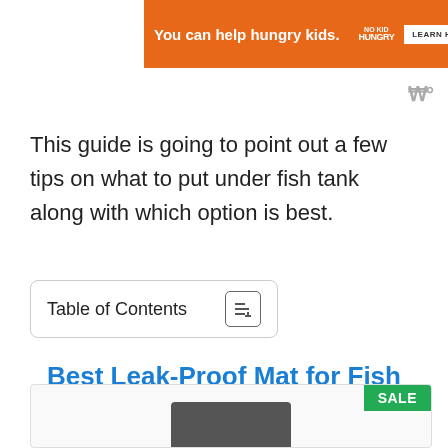[Figure (other): Orange advertisement banner: 'You can help hungry kids.' with No Kid Hungry logo and 'LEARN HOW' button]
[Figure (other): Weather icon showing W with degree symbol in grey]
This guide is going to point out a few tips on what to put under fish tank along with which option is best.
Table of Contents
Best Leak-Proof Mat for Fish Tanks (EDITOR'S CHOICE)
[Figure (other): Product image box with green SALE badge in top right corner and partial view of a dark mat product]